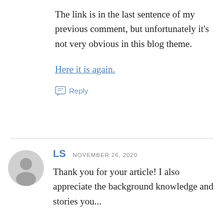The link is in the last sentence of my previous comment, but unfortunately it's not very obvious in this blog theme.
Here it is again.
Reply
LS  NOVEMBER 26, 2020
Thank you for your article! I also appreciate the background knowledge and stories you...